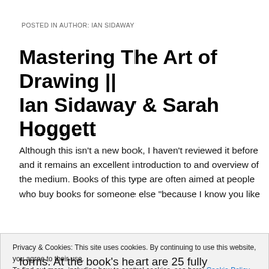POSTED IN AUTHOR: IAN SIDAWAY
Mastering The Art of Drawing || Ian Sidaway & Sarah Hoggett
Although this isn't a new book, I haven't reviewed it before and it remains an excellent introduction to and overview of the medium. Books of this type are often aimed at people who buy books for someone else “because I know you like
Privacy & Cookies: This site uses cookies. By continuing to use this website, you agree to their use.
To find out more, including how to control cookies, see here: Cookie Policy
forms. At the book's heart are 25 fully demonstrated